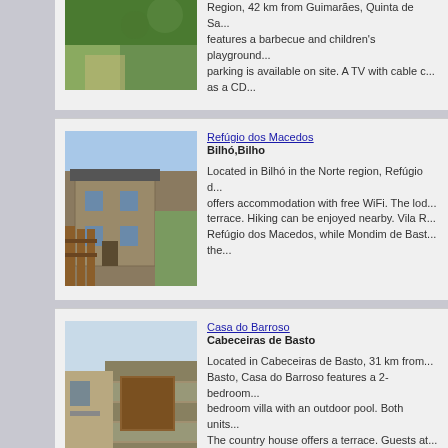[Figure (photo): Partial view of a rural property with green grass and trees (top listing, cropped)]
Region, 42 km from Guimarães, Quinta de Sa... features a barbecue and children's playground... parking is available on site. A TV with cable c... as a CD...
[Figure (photo): Stone building with wooden fence/gate - Refúgio dos Macedos]
Refúgio dos Macedos
Bilhó,Bilho
Located in Bilhó in the Norte region, Refúgio d... offers accommodation with free WiFi. The lod... terrace. Hiking can be enjoyed nearby. Vila R... Refúgio dos Macedos, while Mondim de Bast... the...
[Figure (photo): Casa do Barroso exterior with stone wall and road]
Casa do Barroso
Cabeceiras de Basto
Located in Cabeceiras de Basto, 31 km from... Basto, Casa do Barroso features a 2-bedroom... bedroom villa with an outdoor pool. Both units... The country house offers a terrace. Guests at... Barroso can enjoy...